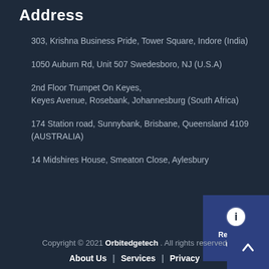Address
303, Krishna Business Pride, Tower Square, Indore (India)
1050 Auburn Rd, Unit 507 Swedesboro, NJ (U.S.A)
2nd Floor Trumpet On Keyes,
Keyes Avenue, Rosebank, Johannesburg (South Africa)
174 Station road, Sunnybank, Brisbane, Queensland 4109 (AUSTRALIA)
14 Midshires House, Smeaton Close, Aylesbury
[Figure (infographic): Request A Quote widget with info icon]
Copyright © 2021 Orbitedgetech . All rights reserved
About Us | Services | Privacy
[Figure (infographic): Scroll to top button with upward arrow]